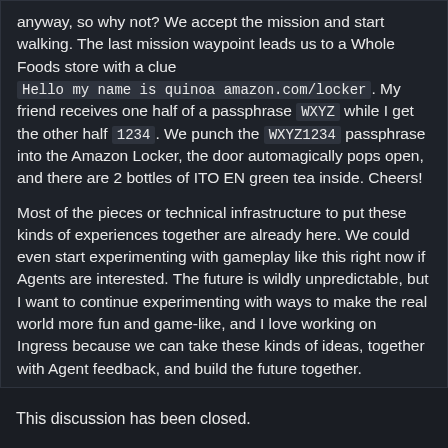anyway, so why not? We accept the mission and start walking. The last mission waypoint leads us to a Whole Foods store with a clue Hello my name is quinoa amazon.com/locker. My friend receives one half of a passphrase WXYZ while I get the other half 1234. We punch the WXYZ1234 passphrase into the Amazon Locker, the door automagically pops open, and there are 2 bottles of ITO EN green tea inside. Cheers!
Most of the pieces or technical infrastructure to put these kinds of experiences together are already here. We could even start experimenting with gameplay like this right now if Agents are interested. The future is wildly unpredictable, but I want to continue experimenting with ways to make the real world more fun and game-like, and I love working on Ingress because we can take these kinds of ideas, together with Agent feedback, and build the future together.
Alright, I'm going to sign off for the night! Thank you again for all of your questions. Until next time, hack the planet, and take care.
This discussion has been closed.